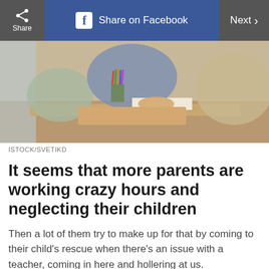[Figure (screenshot): Mobile article page toolbar with Share button, Share on Facebook button, and Next navigation button]
[Figure (photo): Children sitting at a desk with colored pencils in a cup, doing homework or studying]
ISTOCK/SVETIKD
It seems that more parents are working crazy hours and neglecting their children
Then a lot of them try to make up for that by coming to their child's rescue when there's an issue with a teacher, coming in here and hollering at us.